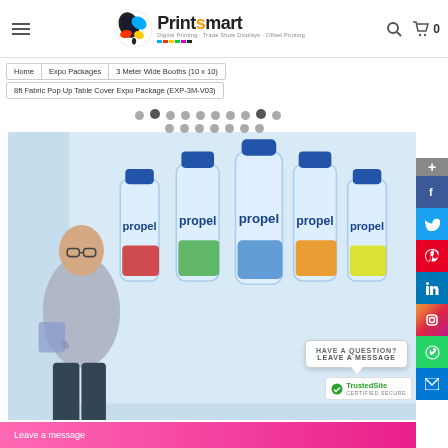Printsmart — Digital Printing, Trade Show Displays, Offset Printing
Home > Expo Packages > 3 Meter Wide Booths (10 x 10) > 8ft Fabric Pop Up Table Cover Expo Package (EXP-3M-V03)
[Figure (photo): Product page image showing a fabric pop-up display backdrop with Propel water bottle branding; a man in a light blue shirt stands beside it. Below is a carousel of dot navigation indicators. Social media share buttons (Facebook, Twitter, Pinterest, LinkedIn, Instagram, WhatsApp, Messenger) appear on the right. A 'Have a Question? Leave a Message' popup is visible, along with a TrustedSite Certified Secure badge.]
HAVE A QUESTION? LEAVE A MESSAGE
TrustedSite CERTIFIED SECURE
Leave a message